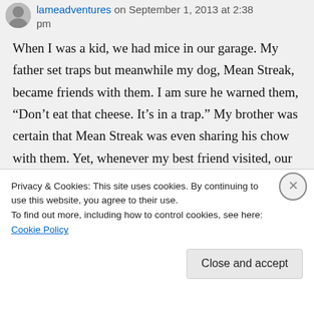lameadventures on September 1, 2013 at 2:38 pm
When I was a kid, we had mice in our garage. My father set traps but meanwhile my dog, Mean Streak, became friends with them. I am sure he warned them, “Don’t eat that cheese. It’s in a trap.” My brother was certain that Mean Streak was even sharing his chow with them. Yet, whenever my best friend visited, our dog would try to bite off her ankle. Animals can be so not ha ha
Privacy & Cookies: This site uses cookies. By continuing to use this website, you agree to their use.
To find out more, including how to control cookies, see here: Cookie Policy
Close and accept